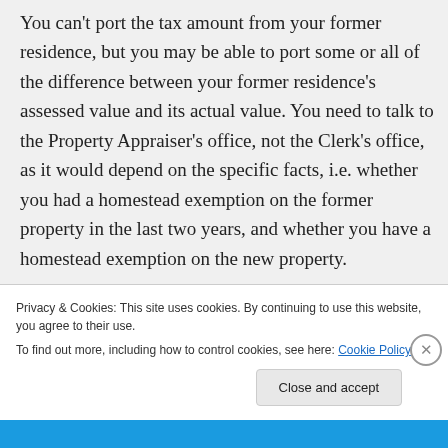You can't port the tax amount from your former residence, but you may be able to port some or all of the difference between your former residence's assessed value and its actual value. You need to talk to the Property Appraiser's office, not the Clerk's office, as it would depend on the specific facts, i.e. whether you had a homestead exemption on the former property in the last two years, and whether you have a homestead exemption on the new property.
Privacy & Cookies: This site uses cookies. By continuing to use this website, you agree to their use.
To find out more, including how to control cookies, see here: Cookie Policy